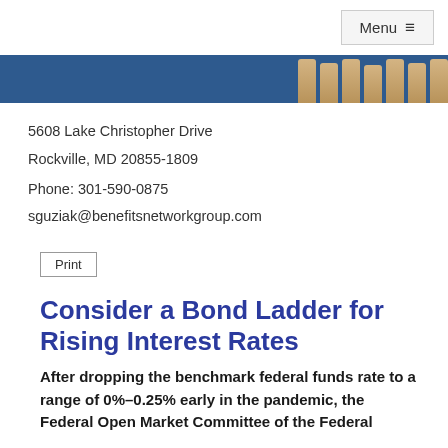Menu ≡
[Figure (illustration): Dark blue banner with classical stone columns visible on the right side]
5608 Lake Christopher Drive
Rockville, MD 20855-1809

Phone: 301-590-0875

sguziak@benefitsnetworkgroup.com
Print
Consider a Bond Ladder for Rising Interest Rates
After dropping the benchmark federal funds rate to a range of 0%–0.25% early in the pandemic, the Federal Open Market Committee of the Federal